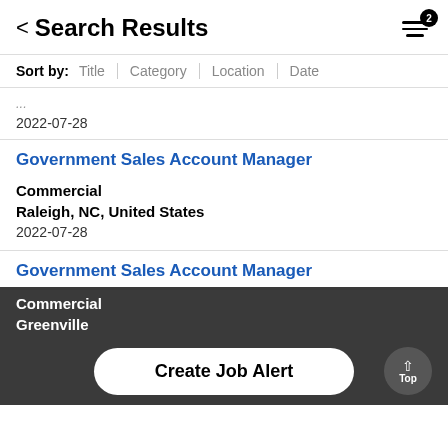Search Results
Sort by: Title | Category | Location | Date
2022-07-28
Government Sales Account Manager
Commercial
Raleigh, NC, United States
2022-07-28
Government Sales Account Manager
Commercial
Greenville
2022-07-28
Create Job Alert